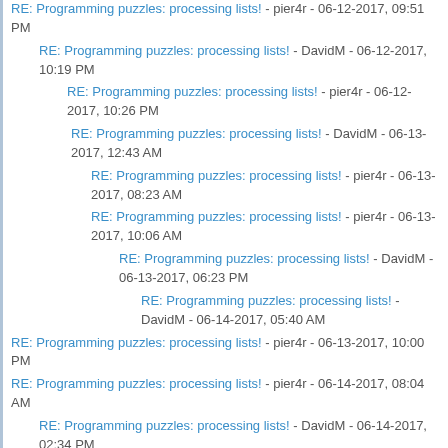RE: Programming puzzles: processing lists! - pier4r - 06-12-2017, 09:51 PM
RE: Programming puzzles: processing lists! - DavidM - 06-12-2017, 10:19 PM
RE: Programming puzzles: processing lists! - pier4r - 06-12-2017, 10:26 PM
RE: Programming puzzles: processing lists! - DavidM - 06-13-2017, 12:43 AM
RE: Programming puzzles: processing lists! - pier4r - 06-13-2017, 08:23 AM
RE: Programming puzzles: processing lists! - pier4r - 06-13-2017, 10:06 AM
RE: Programming puzzles: processing lists! - DavidM - 06-13-2017, 06:23 PM
RE: Programming puzzles: processing lists! - DavidM - 06-14-2017, 05:40 AM
RE: Programming puzzles: processing lists! - pier4r - 06-13-2017, 10:00 PM
RE: Programming puzzles: processing lists! - pier4r - 06-14-2017, 08:04 AM
RE: Programming puzzles: processing lists! - DavidM - 06-14-2017, 02:34 PM
RE: Programming puzzles: processing lists! - pier4r - 06-14-2017, 08:57 AM
RE: Programming puzzles: processing lists! - DavidM - 06-14-2017, 03:27 PM
RE: Programming puzzles: processing lists! - DavidM - 06-15-2017, 08:31 PM